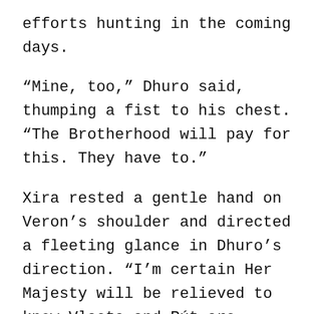efforts hunting in the coming days.
“Mine, too,” Dhuro said, thumping a fist to his chest. “The Brotherhood will pay for this. They have to.”
Xira rested a gentle hand on Veron’s shoulder and directed a fleeting glance in Dhuro’s direction. “I’m certain Her Majesty will be relieved to know Vlasta and Rút are safe.”
In other words, Get this raging prince out of my lifespring.